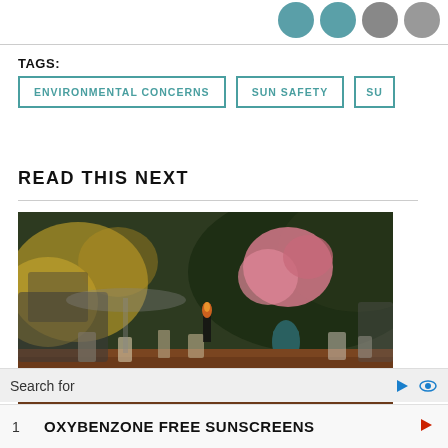[Figure (infographic): Social media sharing icons (teal/gray circles) in top right corner]
TAGS:
ENVIRONMENTAL CONCERNS
SUN SAFETY
SU...
READ THIS NEXT
[Figure (photo): Outdoor garden dining table scene with flowers, glassware, candles and lush green background]
Ad
Search for
1  OXYBENZONE FREE SUNSCREENS